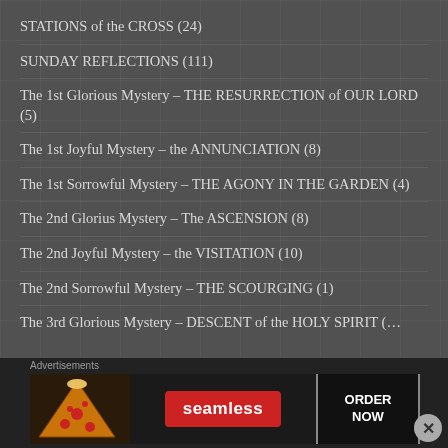STATIONS of the CROSS (24)
SUNDAY REFLECTIONS (111)
The 1st Glorious Mystery – THE RESURRECTION of OUR LORD (5)
The 1st Joyful Mystery – the ANNUNCIATION (8)
The 1st Sorrowful Mystery – THE AGONY IN THE GARDEN (4)
The 2nd Glorius Mystery – The ASCENSION (8)
The 2nd Joyful Mystery – the VISITATION (10)
The 2nd Sorrowful Mystery – THE SCOURGING (1)
The 3rd Glorious Mystery – DESCENT of the HOLY SPIRIT (?)
Advertisements
[Figure (screenshot): Seamless food delivery advertisement banner showing pizza image, Seamless logo, and ORDER NOW button]